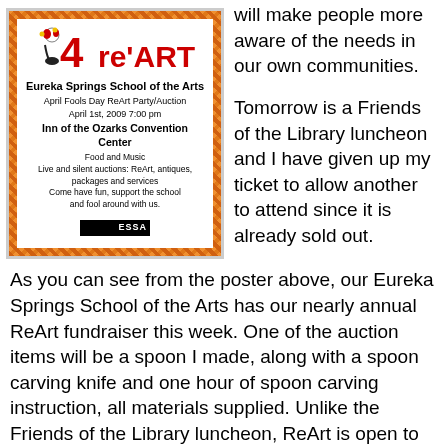[Figure (illustration): Poster for Eureka Springs School of the Arts April Fools Day ReArt Party/Auction, April 1st 2009, Inn of the Ozarks Convention Center, with orange mosaic border and red 4 Re'ART logo]
will make people more aware of the needs in our own communities.
Tomorrow is a Friends of the Library luncheon and I have given up my ticket to allow another to attend since it is already sold out.
As you can see from the poster above, our Eureka Springs School of the Arts has our nearly annual ReArt fundraiser this week. One of the auction items will be a spoon I made, along with a spoon carving knife and one hour of spoon carving instruction, all materials supplied. Unlike the Friends of the Library luncheon, ReArt is open to the public without buying tickets in advance. It should be a fun event. Bring money. Go home with a fresh supply of art. Support the growth of ESSA and the personal growth of artists at the same time.